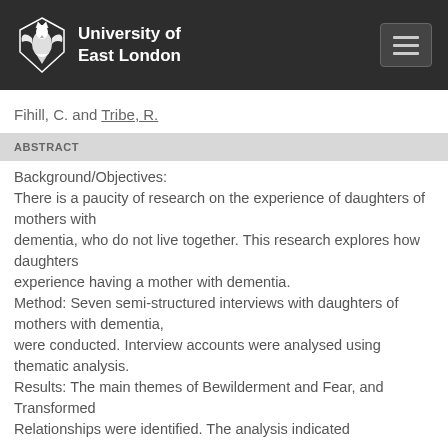University of East London
Fihill, C. and Tribe, R.
ABSTRACT
Background/Objectives: There is a paucity of research on the experience of daughters of mothers with dementia, who do not live together. This research explores how daughters experience having a mother with dementia. Method: Seven semi-structured interviews with daughters of mothers with dementia, were conducted. Interview accounts were analysed using thematic analysis. Results: The main themes of Bewilderment and Fear, and Transformed Relationships were identified. The analysis indicated